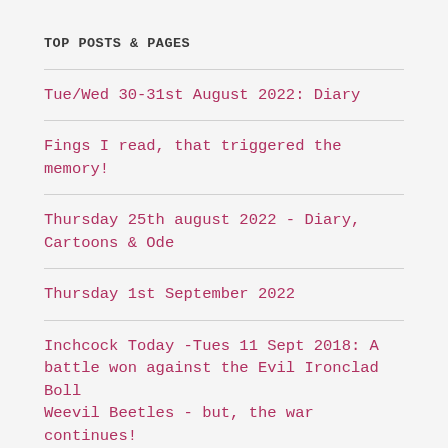TOP POSTS & PAGES
Tue/Wed 30-31st August 2022: Diary
Fings I read, that triggered the memory!
Thursday 25th august 2022 - Diary, Cartoons & Ode
Thursday 1st September 2022
Inchcock Today -Tues 11 Sept 2018: A battle won against the Evil Ironclad Boll Weevil Beetles - but, the war continues!